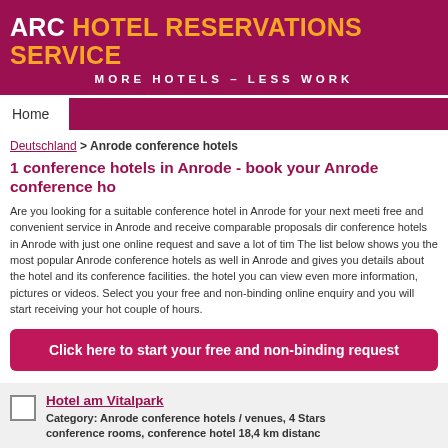ARC HOTEL RESERVATIONS SERVICE
MORE HOTELS – LESS WORK
Home
Deutschland > Anrode conference hotels
1 conference hotels in Anrode - book your Anrode conference hotels
Are you looking for a suitable conference hotel in Anrode for your next meeting? Use our free and convenient service in Anrode and receive comparable proposals directly from the conference hotels in Anrode with just one online request and save a lot of time and money. The list below shows you the most popular Anrode conference hotels as well as all hotels in Anrode and gives you details about the hotel and its conference facilities. By clicking on the hotel you can view even more information, pictures or videos. Select your hotels and start your free and non-binding online enquiry and you will start receiving your hotel proposals within a couple of hours.
Click here to start your free and non-binding request
Hotel am Vitalpark
Category: Anrode conference hotels / venues, 4 Stars conference rooms, conference hotel 18,4 km distance
The4-star-superior Hotel am Vitalpark was opened in 2... enjoy your stay in 126 comfortable guest rooms and 4...